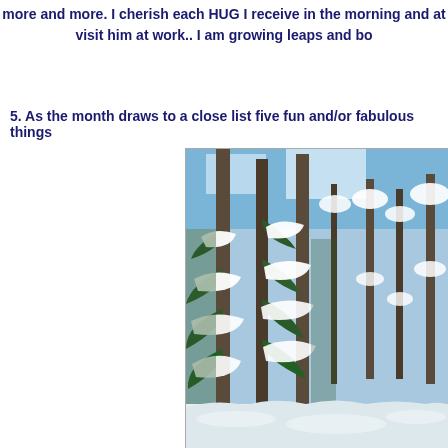more and more. I cherish each HUG I receive in the morning and at visit him at work.. I am growing leaps and bo
5. As the month draws to a close list five fun and/or fabulous things
[Figure (photo): Winter forest scene with tall pine trees covered in snow, blue sky visible through the branches, snowy ground below]